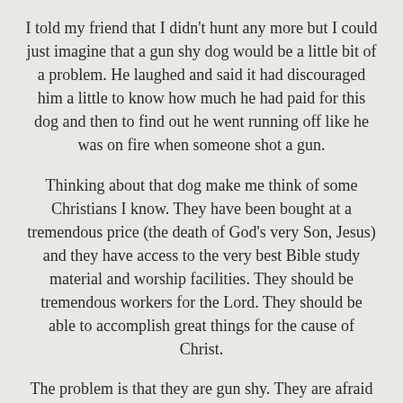I told my friend that I didn't hunt any more but I could just imagine that a gun shy dog would be a little bit of a problem. He laughed and said it had discouraged him a little to know how much he had paid for this dog and then to find out he went running off like he was on fire when someone shot a gun.
Thinking about that dog make me think of some Christians I know. They have been bought at a tremendous price (the death of God's very Son, Jesus) and they have access to the very best Bible study material and worship facilities. They should be tremendous workers for the Lord. They should be able to accomplish great things for the cause of Christ.
The problem is that they are gun shy. They are afraid to witness for God. They are unwilling to accept any